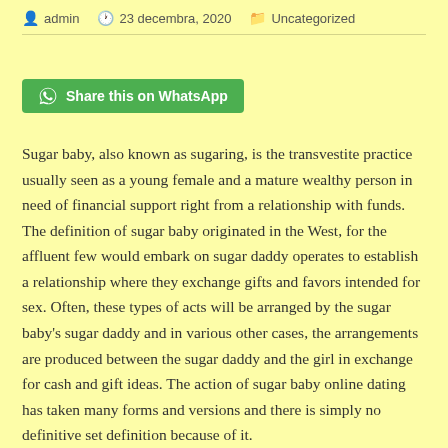admin  23 decembra, 2020  Uncategorized
Share this on WhatsApp
Sugar baby, also known as sugaring, is the transvestite practice usually seen as a young female and a mature wealthy person in need of financial support right from a relationship with funds. The definition of sugar baby originated in the West, for the affluent few would embark on sugar daddy operates to establish a relationship where they exchange gifts and favors intended for sex. Often, these types of acts will be arranged by the sugar baby's sugar daddy and in various other cases, the arrangements are produced between the sugar daddy and the girl in exchange for cash and gift ideas. The action of sugar baby online dating has taken many forms and versions and there is simply no definitive set definition because of it.
The sugars baby might be a young girl in her early twenties who